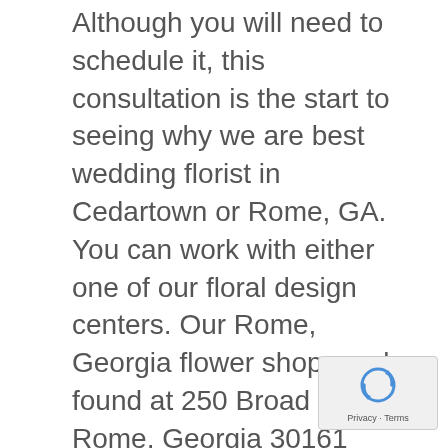Although you will need to schedule it, this consultation is the start to seeing why we are best wedding florist in Cedartown or Rome, GA. You can work with either one of our floral design centers. Our Rome, Georgia flower shop can be found at 250 Broad Street, Rome, Georgia 30161 while the Cedartown flower shop is located at 302 Main Street, Cedartown, Georgia 30125. Both locations have wedding coordinators who can work with you on your dream wedding flowers. Besides our reputation and professionalism, other brides have booked with us because of our unique wedding floral designs that help your vision of the wedding you want come to life. We can work with any size or style of event. Our goal is to create what you want and what fits your budget. In addition to all these benefits, we also offer an exclusive wedding flower website with a gallery and information on how we work with you to create your dream wedding. The gallery not only shows you our level of detail and design, but
[Figure (other): reCAPTCHA widget overlay in bottom-right corner showing spinning arrows icon and 'Privacy - Terms' text]